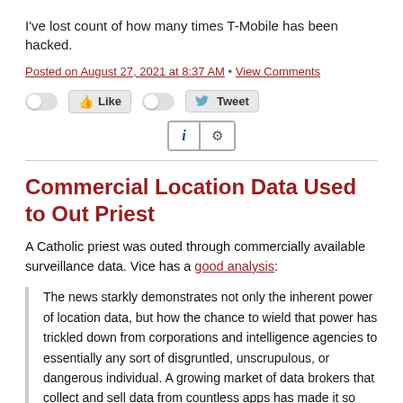I've lost count of how many times T-Mobile has been hacked.
Posted on August 27, 2021 at 8:37 AM • View Comments
[Figure (other): Social sharing bar with Like toggle button and Tweet toggle button, plus an info/settings widget with 'i' and gear icons]
Commercial Location Data Used to Out Priest
A Catholic priest was outed through commercially available surveillance data. Vice has a good analysis:
The news starkly demonstrates not only the inherent power of location data, but how the chance to wield that power has trickled down from corporations and intelligence agencies to essentially any sort of disgruntled, unscrupulous, or dangerous individual. A growing market of data brokers that collect and sell data from countless apps has made it so that anyone with a bit of cash and effort can figure out which phone